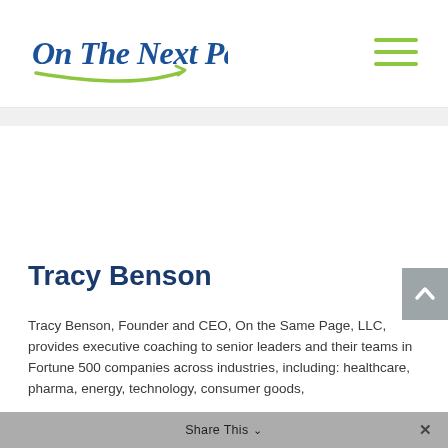[Figure (logo): On The Next Page logo in blue cursive script with green arrow underline]
Tracy Benson
Tracy Benson, Founder and CEO, On the Same Page, LLC, provides executive coaching to senior leaders and their teams in Fortune 500 companies across industries, including: healthcare, pharma, energy, technology, consumer goods,
Share This ×